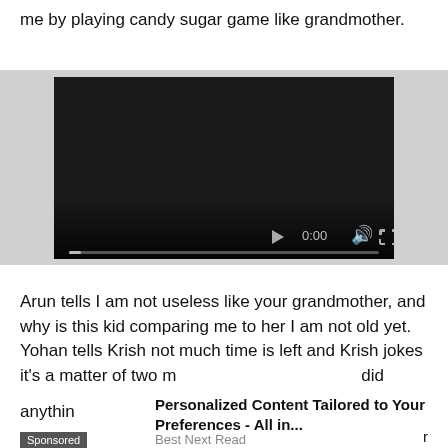me by playing candy sugar game like grandmother.
[Figure (screenshot): Embedded video player with dark background, showing 0:00 timestamp, play button, volume icon, fullscreen icon, and more options icon. A progress bar is shown at the bottom.]
Arun tells I am not useless like your grandmother, and why is this kid comparing me to her I am not old yet. Yohan tells Krish not much time is left and Krish jokes it's a matter of two m                                                                                                           did
Anythin                                                                                                                                       r
Personalized Content Tailored to Your Preferences - All in...
Best Next Read
Sponsored